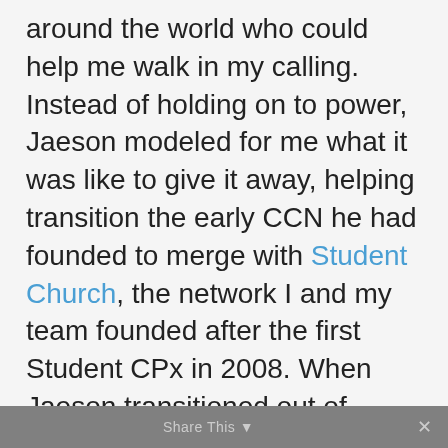around the world who could help me walk in my calling. Instead of holding on to power, Jaeson modeled for me what it was like to give it away, helping transition the early CCN he had founded to merge with Student Church, the network I and my team founded after the first Student CPx in 2008. When Jaeson transitioned out of specific university focused church planting, the prophetic blessing and impact he had on
Share This ×